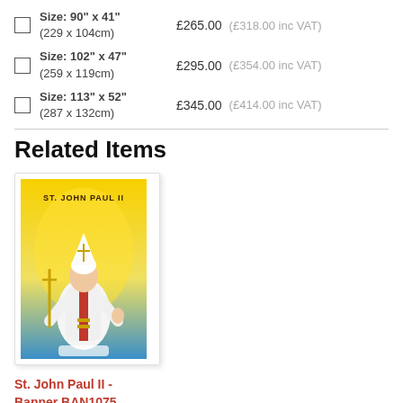Size: 90" x 41" (229 x 104cm)  £265.00  (£318.00 inc VAT)
Size: 102" x 47" (259 x 119cm)  £295.00  (£354.00 inc VAT)
Size: 113" x 52" (287 x 132cm)  £345.00  (£414.00 inc VAT)
Related Items
[Figure (photo): St. John Paul II banner product image showing pope figure on yellow/blue background with text ST. JOHN PAUL II]
St. John Paul II - Banner BAN1075
Order ref BAN1075